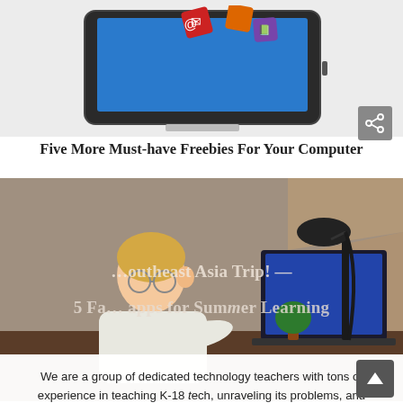[Figure (illustration): Tablet computer with colorful app icons floating above it, on a light background]
Five More Must-have Freebies For Your Computer
[Figure (photo): Child sitting at a desk looking at an open book and laptop computer with a lamp, overlaid with text links: '...outheast Asia Trip!' and '5 Fa... apps for Summer Learning']
We are a group of dedicated technology teachers with tons of experience in teaching K-18 tech, unraveling its problems, and making it exciting for kids (and adults). We blog here, teach online grad school classes, provide curricula (like K-12 Technology curriculum, K-8 keyboard curriculum, K-8 Digital Citizenship curriculum). Jacqui Murray (the face of AATT) also authors tech thrillers, To